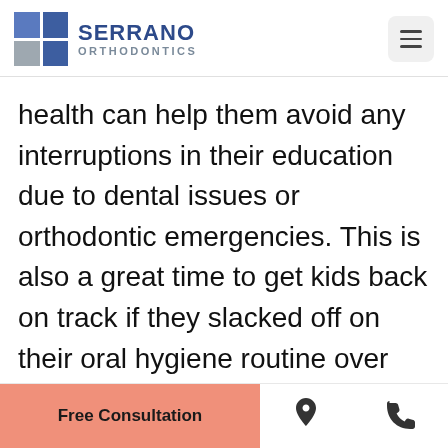[Figure (logo): Serrano Orthodontics logo with blue grid squares and text]
health can help them avoid any interruptions in their education due to dental issues or orthodontic emergencies. This is also a great time to get kids back on track if they slacked off on their oral hygiene routine over the summer.
Free Consultation | location icon | phone icon